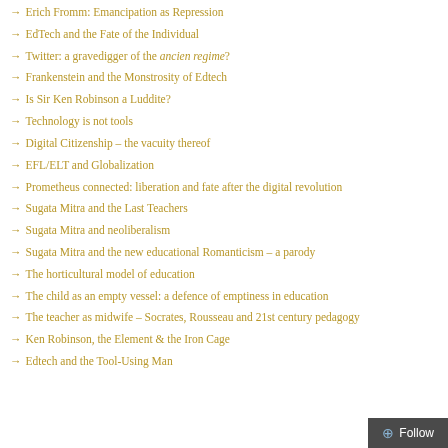→ Erich Fromm: Emancipation as Repression
→ EdTech and the Fate of the Individual
→ Twitter: a gravedigger of the ancien regime?
→ Frankenstein and the Monstrosity of Edtech
→ Is Sir Ken Robinson a Luddite?
→ Technology is not tools
→ Digital Citizenship – the vacuity thereof
→ EFL/ELT and Globalization
→ Prometheus connected: liberation and fate after the digital revolution
→ Sugata Mitra and the Last Teachers
→ Sugata Mitra and neoliberalism
→ Sugata Mitra and the new educational Romanticism – a parody
→ The horticultural model of education
→ The child as an empty vessel: a defence of emptiness in education
→ The teacher as midwife – Socrates, Rousseau and 21st century pedagogy
→ Ken Robinson, the Element & the Iron Cage
→ Edtech and the Tool-Using Man